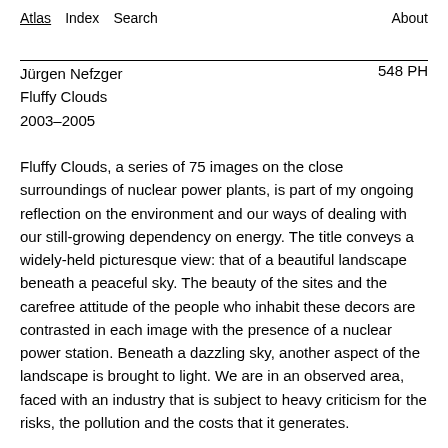Atlas  Index  Search  About
Jürgen Nefzger
Fluffy Clouds
2003–2005
548 PH
Fluffy Clouds, a series of 75 images on the close surroundings of nuclear power plants, is part of my ongoing reflection on the environment and our ways of dealing with our still-growing dependency on energy. The title conveys a widely-held picturesque view: that of a beautiful landscape beneath a peaceful sky. The beauty of the sites and the carefree attitude of the people who inhabit these decors are contrasted in each image with the presence of a nuclear power station. Beneath a dazzling sky, another aspect of the landscape is brought to light. We are in an observed area, faced with an industry that is subject to heavy criticism for the risks, the pollution and the costs that it generates.
To shoot the Fluffy Clouds series, starting in 2003, I travelled